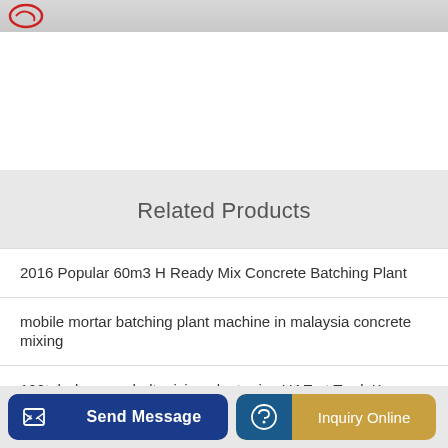Related Products
2016 Popular 60m3 H Ready Mix Concrete Batching Plant
mobile mortar batching plant machine in malaysia concrete mixing
120tph drum asphalt mixing plant price UAE at TradeKey
...te pum...